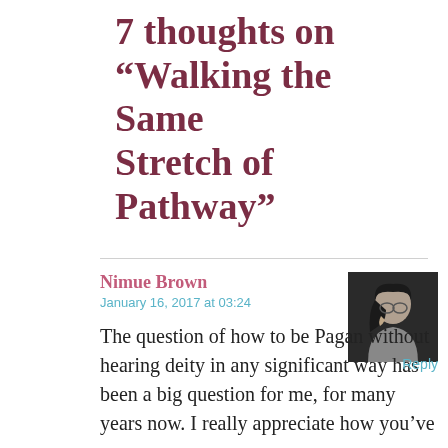7 thoughts on “Walking the Same Stretch of Pathway”
Nimue Brown
January 16, 2017 at 03:24
[Figure (photo): Black and white photo of a woman with long dark hair and glasses, looking downward, hand near face.]
Reply
The question of how to be Pagan without hearing deity in any significant way has been a big question for me, for many years now. I really appreciate how you’ve